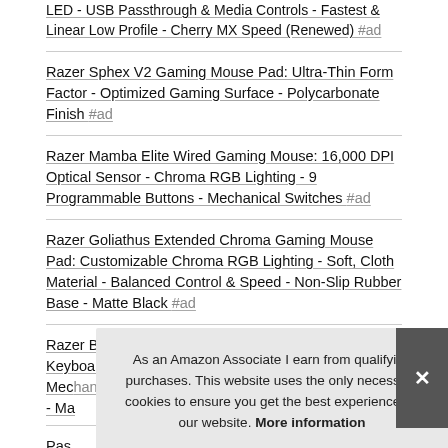LED - USB Passthrough & Media Controls - Fastest & Linear Low Profile - Cherry MX Speed (Renewed) #ad
Razer Sphex V2 Gaming Mouse Pad: Ultra-Thin Form Factor - Optimized Gaming Surface - Polycarbonate Finish #ad
Razer Mamba Elite Wired Gaming Mouse: 16,000 DPI Optical Sensor - Chroma RGB Lighting - 9 Programmable Buttons - Mechanical Switches #ad
Razer Goliathus Extended Chroma Gaming Mouse Pad: Customizable Chroma RGB Lighting - Soft, Cloth Material - Balanced Control & Speed - Non-Slip Rubber Base - Matte Black #ad
Razer BlackWidow Elite Mechanical Gaming Keyboard: Green Mec... Tactical & Clicky Chroma RGB Ligh... - Ma... Passthrough...
Raz... Fran...
As an Amazon Associate I earn from qualifying purchases. This website uses the only necessary cookies to ensure you get the best experience on our website. More information